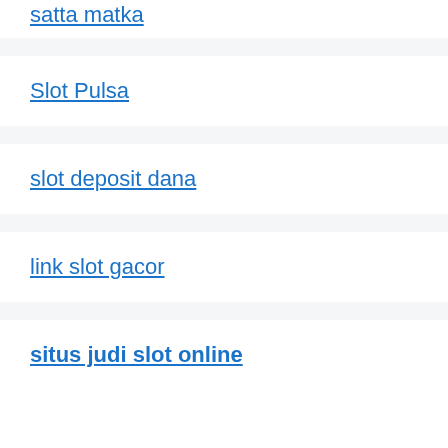satta matka
Slot Pulsa
slot deposit dana
link slot gacor
situs judi slot online